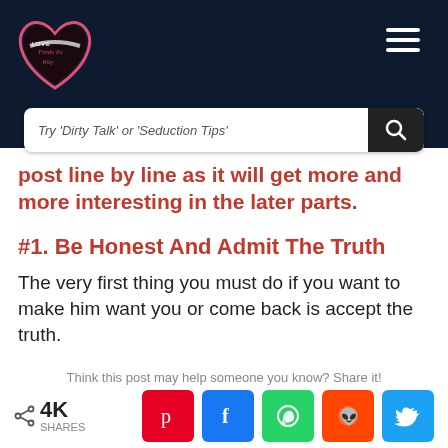[Figure (logo): Love Finds Its Way logo — stylized heart with script text]
[Figure (other): Hamburger menu icon (three horizontal white lines) in top right]
[Figure (other): Search bar with placeholder text 'Try Dirty Talk or Seduction Tips' and dark search button with magnifying glass icon]
post line by line as it will get more and more interesting in the later parts.
#1. Be Honest And Admit The Truth
The very first thing you must do if you want to make him want you or come back is accept the truth.
Think this post may help someone you know? Share it!
4K SHARES